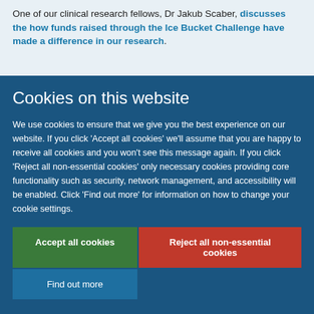One of our clinical research fellows, Dr Jakub Scaber, discusses the how funds raised through the Ice Bucket Challenge have made a difference in our research.
Cookies on this website
We use cookies to ensure that we give you the best experience on our website. If you click 'Accept all cookies' we'll assume that you are happy to receive all cookies and you won't see this message again. If you click 'Reject all non-essential cookies' only necessary cookies providing core functionality such as security, network management, and accessibility will be enabled. Click 'Find out more' for information on how to change your cookie settings.
Accept all cookies
Reject all non-essential cookies
Find out more